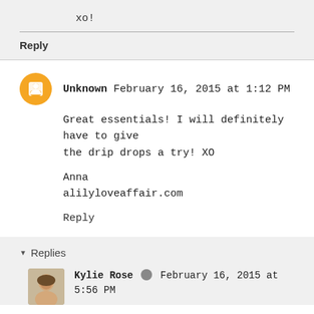xo!
Reply
Unknown February 16, 2015 at 1:12 PM
Great essentials! I will definitely have to give the drip drops a try! XO

Anna
alilyloveaffair.com
Reply
Replies
Kylie Rose February 16, 2015 at 5:56 PM